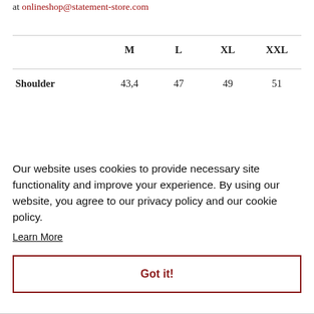at onlineshop@statement-store.com
|  | M | L | XL | XXL |
| --- | --- | --- | --- | --- |
| Shoulder | 43,4 | 47 | 49 | 51 |
Our website uses cookies to provide necessary site functionality and improve your experience. By using our website, you agree to our privacy policy and our cookie policy.
Learn More
Got it!